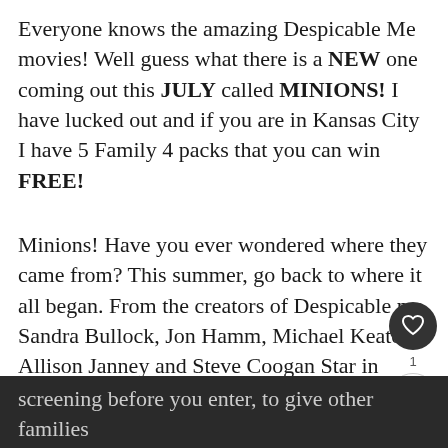Everyone knows the amazing Despicable Me movies! Well guess what there is a NEW one coming out this JULY called MINIONS! I have lucked out and if you are in Kansas City I have 5 Family 4 packs that you can win FREE!
Minions! Have you ever wondered where they came from? This summer, go back to where it all began. From the creators of Despicable me, Sandra Bullock, Jon Hamm, Michael Keaton, Allison Janney and Steve Coogan Star in MINIONS. In theaters and real-D July 10th. Rated PG.
Please make sure that you are available to attend the screening before you enter, to give other families another chance.